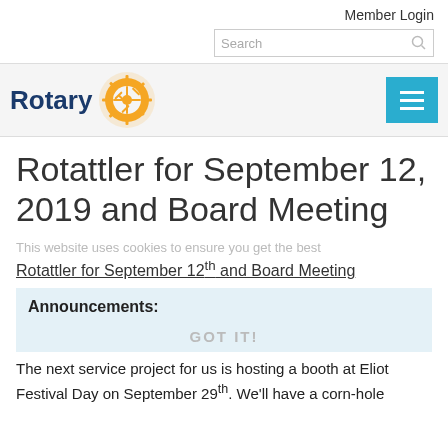Member Login
Search
[Figure (logo): Rotary logo with gear wheel and text 'Rotary']
[Figure (other): Hamburger menu button (three horizontal lines on teal background)]
Rotattler for September 12, 2019 and Board Meeting
This website uses cookies to ensure you get the best
Rotattler for September 12th and Board Meeting
Announcements:
GOT IT!
The next service project for us is hosting a booth at Eliot Festival Day on September 29th. We'll have a corn-hole